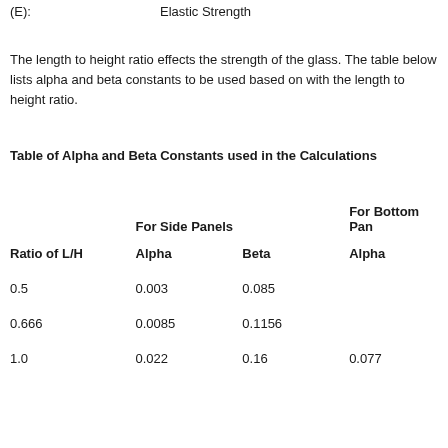(E):
Elastic Strength
The length to height ratio effects the strength of the glass. The table below lists alpha and beta constants to be used based on with the length to height ratio.
Table of Alpha and Beta Constants used in the Calculations
| Ratio of L/H | For Side Panels Alpha | For Side Panels Beta | For Bottom Panels Alpha |
| --- | --- | --- | --- |
| 0.5 | 0.003 | 0.085 |  |
| 0.666 | 0.0085 | 0.1156 |  |
| 1.0 | 0.022 | 0.16 | 0.077 |